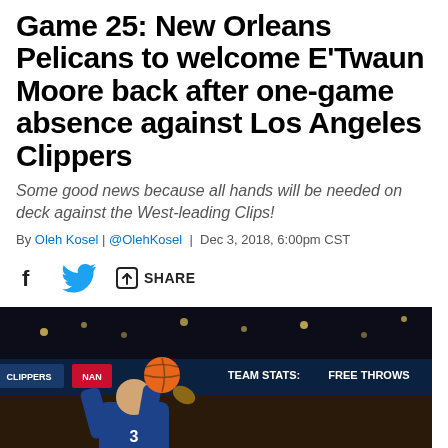Game 25: New Orleans Pelicans to welcome E'Twaun Moore back after one-game absence against Los Angeles Clippers
Some good news because all hands will be needed on deck against the West-leading Clips!
By Oleh Kosel | @OlehKosel | Dec 3, 2018, 6:00pm CST
[Figure (photo): Basketball player in blue Clippers uniform taking a jump shot, with scoreboard showing TEAM STATS: FREE THROWS in background, arena setting]